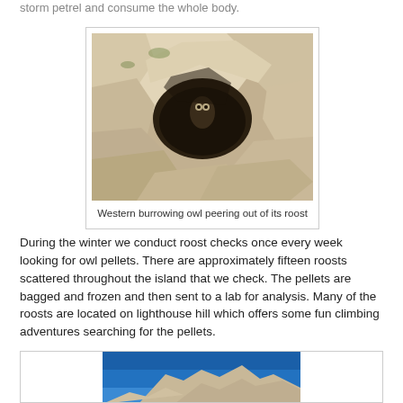storm petrel and consume the whole body.
[Figure (photo): Western burrowing owl peering out of its roost in rocky crevice]
Western burrowing owl peering out of its roost
During the winter we conduct roost checks once every week looking for owl pellets. There are approximately fifteen roosts scattered throughout the island that we check. The pellets are bagged and frozen and then sent to a lab for analysis. Many of the roosts are located on lighthouse hill which offers some fun climbing adventures searching for the pellets.
[Figure (photo): Rocky outcrop against a blue sky, partially visible at bottom of page]